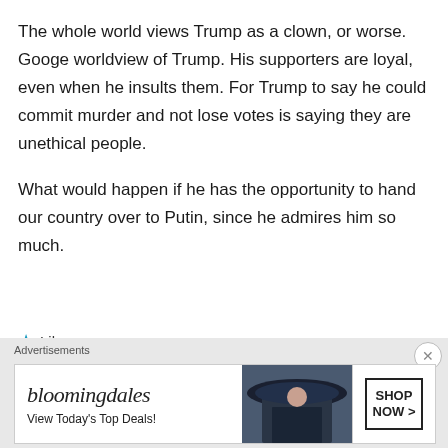The whole world views Trump as a clown, or worse. Googe worldview of Trump. His supporters are loyal, even when he insults them. For Trump to say he could commit murder and not lose votes is saying they are unethical people.
What would happen if he has the opportunity to hand our country over to Putin, since he admires him so much.
★ Like
[Figure (screenshot): Bloomingdale's advertisement banner with text 'View Today's Top Deals!' and a SHOP NOW button, with a woman in a wide-brim hat]